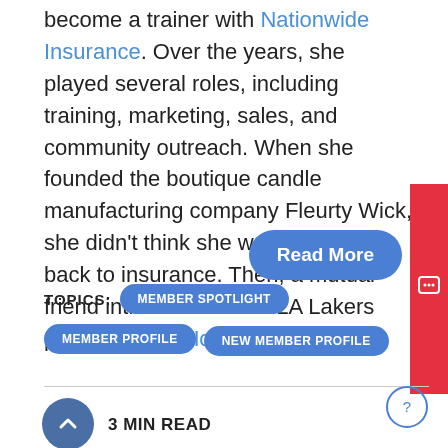become a trainer with Nationwide Insurance. Over the years, she played several roles, including training, marketing, sales, and community outreach. When she founded the boutique candle manufacturing company Fleurty Wick, she didn't think she would ever go back to insurance. Then, a mutual friend introduced her to LA Lakers player Dwight Howard.
[Figure (other): Read More button — blue rounded pill button with white text]
[Figure (other): Feedback vertical tab on right edge — red background with white Feedback label and icon]
TOPICS: MEMBER SPOTLIGHT  MEMBER PROFILE  NEW MEMBER PROFILE
[Figure (other): Circular dark blue back-to-top arrow button]
3 MIN READ